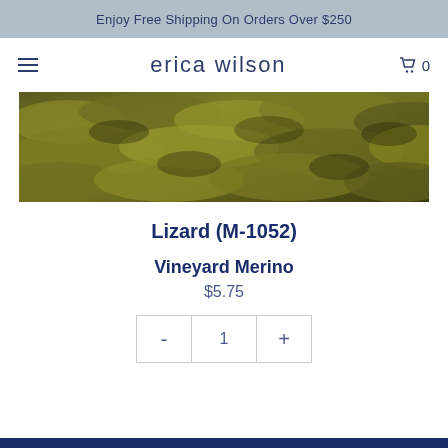Enjoy Free Shipping On Orders Over $250
erica wilson
[Figure (photo): Close-up photo of olive/khaki green twisted yarn skein showing textured wool fibers]
Lizard (M-1052)
Vineyard Merino
$5.75
| - | 1 | + |
| --- | --- | --- |